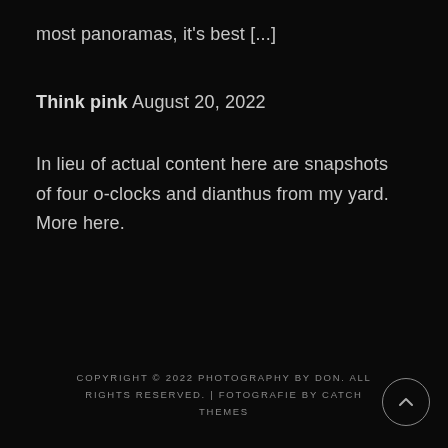most panoramas, it's best [...]
Think pink August 20, 2022
In lieu of actual content here are snapshots of four o-clocks and dianthus from my yard. More here.
COPYRIGHT © 2022 PHOTOGRAPHY BY DON. ALL RIGHTS RESERVED. | FOTOGRAFIE BY CATCH THEMES